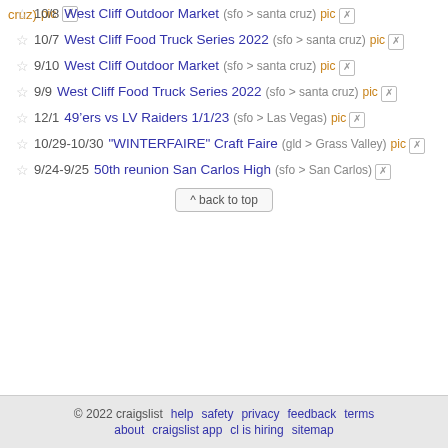cruz) pic [x]
10/8 West Cliff Outdoor Market (sfo > santa cruz) pic [x]
10/7 West Cliff Food Truck Series 2022 (sfo > santa cruz) pic [x]
9/10 West Cliff Outdoor Market (sfo > santa cruz) pic [x]
9/9 West Cliff Food Truck Series 2022 (sfo > santa cruz) pic [x]
12/1 49’ers vs LV Raiders 1/1/23 (sfo > Las Vegas) pic [x]
10/29-10/30 "WINTERFAIRE" Craft Faire (gld > Grass Valley) pic [x]
9/24-9/25 50th reunion San Carlos High (sfo > San Carlos) [x]
^ back to top
© 2022 craigslist   help   safety   privacy   feedback   terms   about   craigslist app   cl is hiring   sitemap